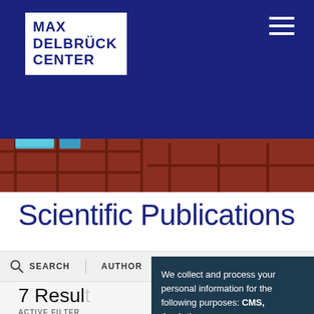[Figure (logo): Max Delbrück Center logo with white background and dark blue text on dark blue navigation bar]
[Figure (photo): Library or lab shelf scene with blue items and a person in black]
Scientific Publications
SEARCH  AUTHOR  IMPACT FACTOR  RELEASE
7 Results
ACTIVE FILTER
Rüschendorf,
Schmidt-Krüg
We collect and process your personal information for the following purposes: CMS, Analytics.
Reject all   Accept all   Customize...